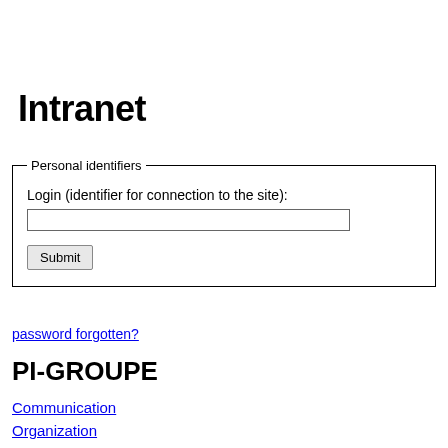Intranet
[Figure (screenshot): A web form fieldset labeled 'Personal identifiers' containing a text input for Login (identifier for connection to the site) and a Submit button.]
password forgotten?
PI-GROUPE
Communication
Organization
Integration